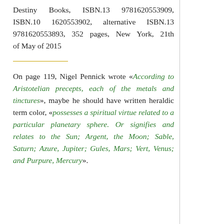Destiny Books, ISBN.13 9781620553909, ISBN.10 1620553902, alternative ISBN.13 9781620553893, 352 pages, New York, 21th of May of 2015
On page 119, Nigel Pennick wrote «According to Aristotelian precepts, each of the metals and tinctures», maybe he should have written heraldic term color, «possesses a spiritual virtue related to a particular planetary sphere. Or signifies and relates to the Sun; Argent, the Moon; Sable, Saturn; Azure, Jupiter; Gules, Mars; Vert, Venus; and Purpure, Mercury».